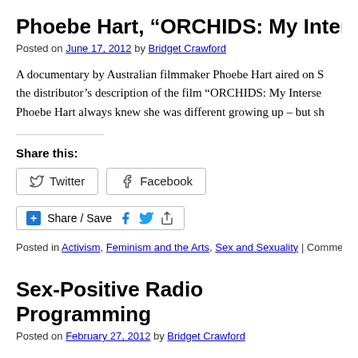Phoebe Hart, “ORCHIDS: My Intersex Adv…
Posted on June 17, 2012 by Bridget Crawford
A documentary by Australian filmmaker Phoebe Hart aired on S… the distributor’s description of the film “ORCHIDS: My Interse… Phoebe Hart always knew she was different growing up – but sh…
Share this:
Twitter  Facebook
Share / Save
Posted in Activism, Feminism and the Arts, Sex and Sexuality | Comments O…
Sex-Positive Radio Programming
Posted on February 27, 2012 by Bridget Crawford